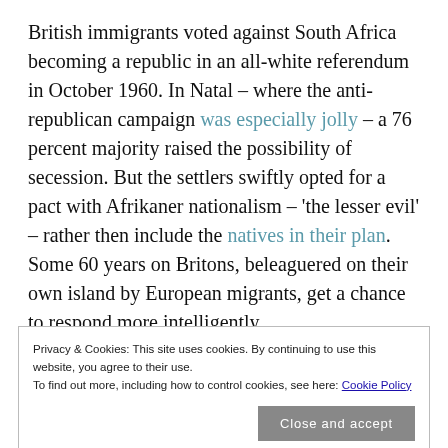British immigrants voted against South Africa becoming a republic in an all-white referendum in October 1960. In Natal – where the anti-republican campaign was especially jolly – a 76 percent majority raised the possibility of secession. But the settlers swiftly opted for a pact with Afrikaner nationalism – 'the lesser evil' – rather then include the natives in their plan. Some 60 years on Britons, beleaguered on their own island by European migrants, get a chance to respond more intelligently.
Privacy & Cookies: This site uses cookies. By continuing to use this website, you agree to their use.
To find out more, including how to control cookies, see here: Cookie Policy
Close and accept